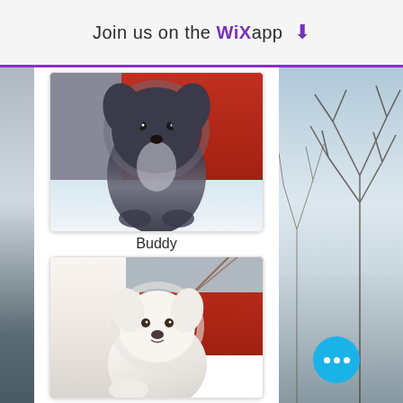Join us on the WiX app ⬇
[Figure (photo): A dark/grey fluffy husky puppy sitting on snow in front of a red wall background]
Buddy
[Figure (photo): A white fluffy Samoyed puppy sitting against a red wall, with a cream blanket beside it]
[Figure (screenshot): Blue chat/more options button with three white dots in the bottom right corner]